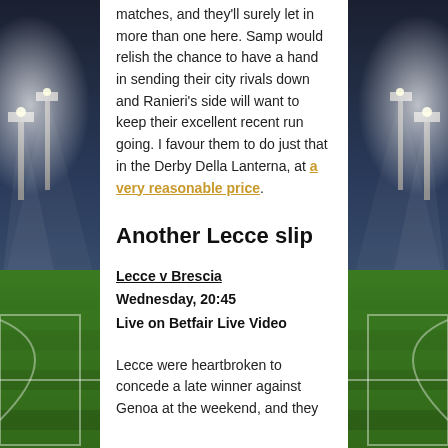matches, and they'll surely let in more than one here. Samp would relish the chance to have a hand in sending their city rivals down and Ranieri's side will want to keep their excellent recent run going. I favour them to do just that in the Derby Della Lanterna, at a very reasonable price.
Another Lecce slip
Lecce v Brescia
Wednesday, 20:45
Live on Betfair Live Video
Lecce were heartbroken to concede a late winner against Genoa at the weekend, and they